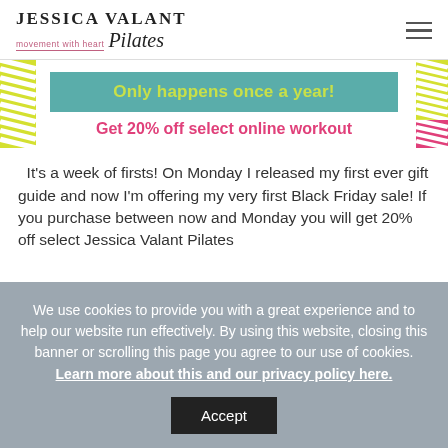[Figure (logo): Jessica Valant Pilates logo with tagline 'movement with heart' and hamburger menu icon]
[Figure (infographic): Promotional banner with yellow diagonal stripe side bars, teal box reading 'Only happens once a year!' and pink text 'Get 20% off select online workout']
It's a week of firsts! On Monday I released my first ever gift guide and now I'm offering my very first Black Friday sale! If you purchase between now and Monday you will get 20% off select Jessica Valant Pilates
We use cookies to provide you with a great experience and to help our website run effectively. By using this website, closing this banner or scrolling this page you agree to our use of cookies. Learn more about this and our privacy policy here.